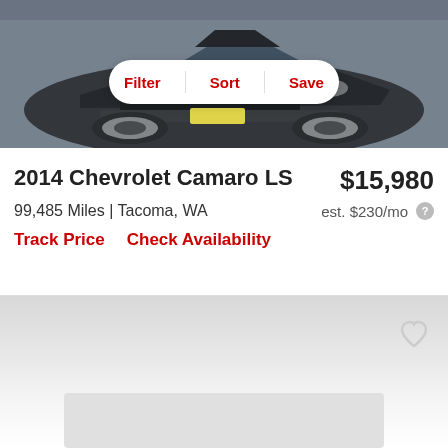[Figure (photo): Dark colored car (Chevrolet Camaro) photographed from the front at an angle, shown in a parking lot on a rainy day.]
Filter | Sort | Save
2014 Chevrolet Camaro LS
$15,980
99,485 Miles | Tacoma, WA
est. $230/mo
Track Price   Check Availability
[Figure (photo): Partially visible next car listing below, with a heart/favorite icon in the top right corner and a gray gradient background. A gray rectangle placeholder is visible at the bottom.]